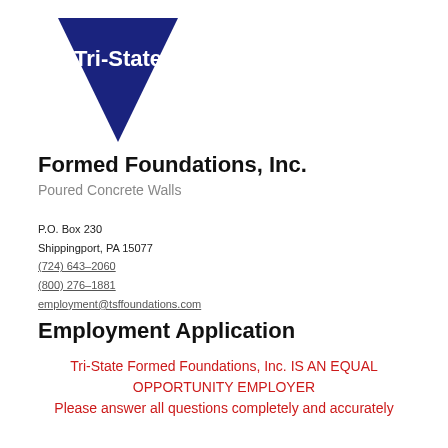[Figure (logo): Tri-State logo: dark navy blue downward-pointing triangle with white text 'Tri-State' in the upper portion]
Formed Foundations, Inc.
Poured Concrete Walls
P.O. Box 230
Shippingport, PA 15077
(724) 643-2060
(800) 276-1881
employment@tsffoundations.com
Employment Application
Tri-State Formed Foundations, Inc. IS AN EQUAL OPPORTUNITY EMPLOYER
Please answer all questions completely and accurately